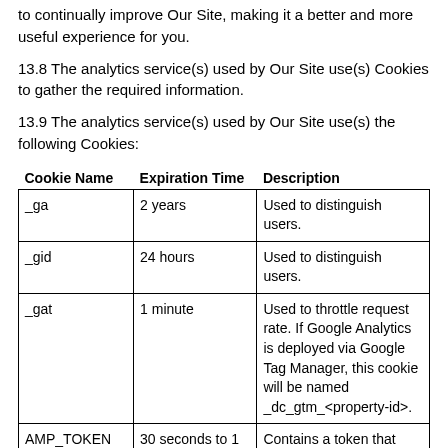to continually improve Our Site, making it a better and more useful experience for you.
13.8 The analytics service(s) used by Our Site use(s) Cookies to gather the required information.
13.9 The analytics service(s) used by Our Site use(s) the following Cookies:
| Cookie Name | Expiration Time | Description |
| --- | --- | --- |
| _ga | 2 years | Used to distinguish users. |
| _gid | 24 hours | Used to distinguish users. |
| _gat | 1 minute | Used to throttle request rate. If Google Analytics is deployed via Google Tag Manager, this cookie will be named _dc_gtm_<property-id>. |
| AMP_TOKEN | 30 seconds to 1 year | Contains a token that |